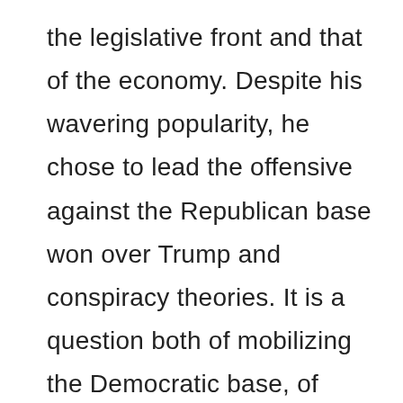the legislative front and that of the economy. Despite his wavering popularity, he chose to lead the offensive against the Republican base won over Trump and conspiracy theories. It is a question both of mobilizing the Democratic base, of sensitizing the undecided to the magnitude of the issues, and, finally, of reversing the very nature of this vote. Historically, the “midterms” express